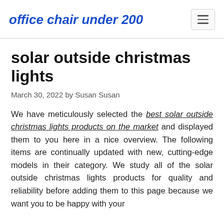office chair under 200
solar outside christmas lights
March 30, 2022 by Susan Susan
We have meticulously selected the best solar outside christmas lights products on the market and displayed them to you here in a nice overview. The following items are continually updated with new, cutting-edge models in their category. We study all of the solar outside christmas lights products for quality and reliability before adding them to this page because we want you to be happy with your